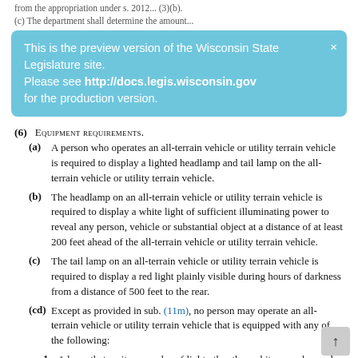from the appropriation under s. 2012...(3)(b).
(c) The department shall...
This is the preview version of the Wisconsin State Legislature site. Please see http://docs.legis.wisconsin.gov for the production version.
(6) Equipment requirements.
(a) A person who operates an all-terrain vehicle or utility terrain vehicle is required to display a lighted headlamp and tail lamp on the all-terrain vehicle or utility terrain vehicle.
(b) The headlamp on an all-terrain vehicle or utility terrain vehicle is required to display a white light of sufficient illuminating power to reveal any person, vehicle or substantial object at a distance of at least 200 feet ahead of the all-terrain vehicle or utility terrain vehicle.
(c) The tail lamp on an all-terrain vehicle or utility terrain vehicle is required to display a red light plainly visible during hours of darkness from a distance of 500 feet to the rear.
(cd) Except as provided in sub. (11m), no person may operate an all-terrain vehicle or utility terrain vehicle that is equipped with any of the following:
1. A lamp that emits any color of light other than white or amber and that is visible from directly in front of the terrain vehicle or utility terrain vehicle.